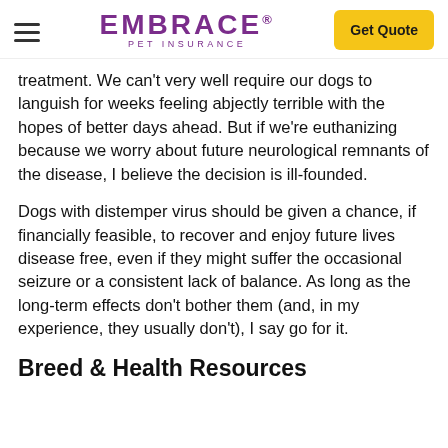EMBRACE PET INSURANCE | Get Quote
treatment. We can't very well require our dogs to languish for weeks feeling abjectly terrible with the hopes of better days ahead. But if we're euthanizing because we worry about future neurological remnants of the disease, I believe the decision is ill-founded.
Dogs with distemper virus should be given a chance, if financially feasible, to recover and enjoy future lives disease free, even if they might suffer the occasional seizure or a consistent lack of balance. As long as the long-term effects don't bother them (and, in my experience, they usually don't), I say go for it.
Breed & Health Resources